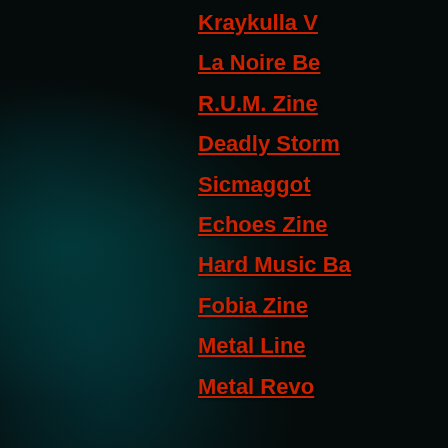Kraykulla V
La Noire Be
R.U.M. Zine
Deadly Storm
Sicmaggot
Echoes Zine
Hard Music Ba
Fobia Zine
Metal Line
Metal Revo